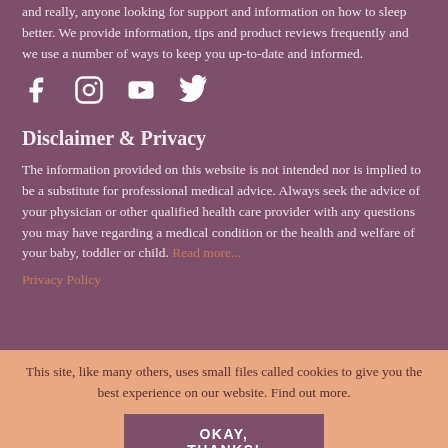and really, anyone looking for support and information on how to sleep better. We provide information, tips and product reviews frequently and we use a number of ways to keep you up-to-date and informed.
[Figure (other): Social media icons: Facebook, Instagram, YouTube, Twitter]
Disclaimer & Privacy
The information provided on this website is not intended nor is implied to be a substitute for professional medical advice. Always seek the advice of your physician or other qualified health care provider with any questions you may have regarding a medical condition or the health and welfare of your baby, toddler or child. Read more...
Privacy Policy
This site, like many others, uses small files called cookies to give you the best experience on our website. Find out more.
OKAY, THANKS!